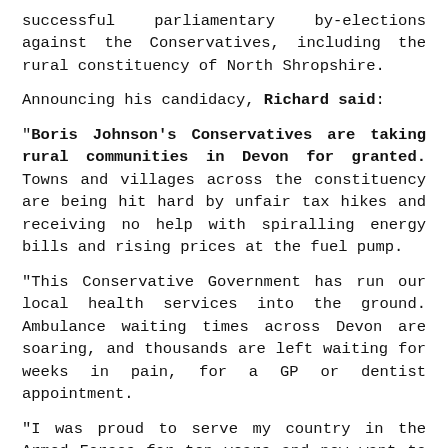successful parliamentary by-elections against the Conservatives, including the rural constituency of North Shropshire.
Announcing his candidacy, Richard said:
"Boris Johnson's Conservatives are taking rural communities in Devon for granted. Towns and villages across the constituency are being hit hard by unfair tax hikes and receiving no help with spiralling energy bills and rising prices at the fuel pump.
"This Conservative Government has run our local health services into the ground. Ambulance waiting times across Devon are soaring, and thousands are left waiting for weeks in pain, for a GP or dentist appointment.
"I was proud to serve my country in the Armed Forces for ten years and now want to serve my community in Westminster. We need politicians who listen to the needs of local people and work tirelessly to deliver for our area.